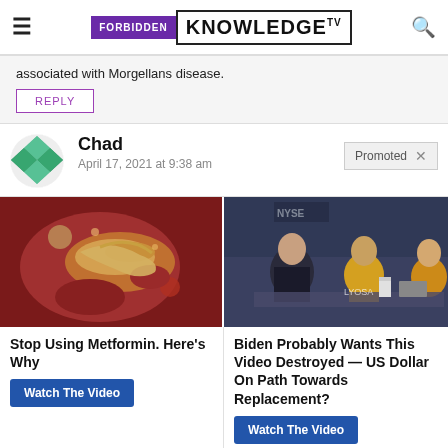FORBIDDEN KNOWLEDGE TV
associated with Morgellans disease.
REPLY
Chad
April 17, 2021 at 9:38 am
Promoted
[Figure (photo): Close-up medical image, reddish tissue]
[Figure (photo): News broadcast scene with people at desk, NYSE background]
Stop Using Metformin. Here's Why
Watch The Video
Biden Probably Wants This Video Destroyed — US Dollar On Path Towards Replacement?
Watch The Video